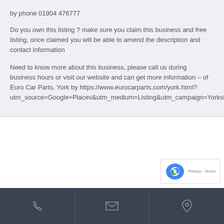by phone 01904 476777
Do you own this listing ? make sure you claim this business and free listing, once claimed you will be able to amend the description and contact information
Need to know more about this business, please call us during business hours or visit our website and can get more information – of Euro Car Parts, York by https://www.eurocarparts.com/york.html?utm_source=Google+Places&utm_medium=Listing&utm_campaign=Yorkshire
[Figure (other): reCAPTCHA badge with logo and Privacy/Terms text]
Phone icon | Email icon | Location icon